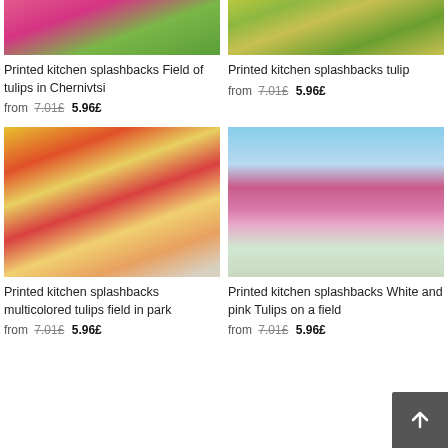[Figure (photo): Pink tulips field from above (top portion visible)]
Printed kitchen splashbacks Field of tulips in Chernivtsi
from 7.01£ 5.96£
[Figure (photo): Yellow/green tulips field (top portion visible)]
Printed kitchen splashbacks tulip
from 7.01£ 5.96£
[Figure (photo): Multicolored tulips field in park - red, yellow, white, pink tulips]
Printed kitchen splashbacks multicolored tulips field in park
from 7.01£ 5.96£
[Figure (photo): White and pink tulips on a field with blue sky]
Printed kitchen splashbacks White and pink Tulips on a field
from 7.01£ 5.96£